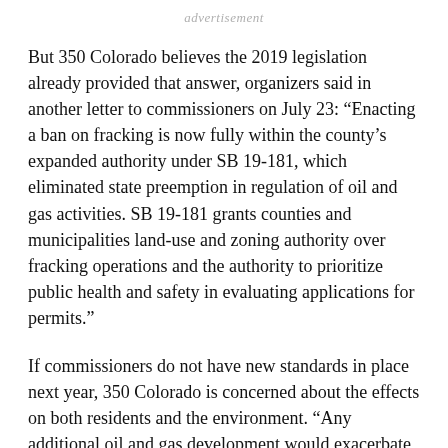advertisement
But 350 Colorado believes the 2019 legislation already provided that answer, organizers said in another letter to commissioners on July 23: “Enacting a ban on fracking is now fully within the county’s expanded authority under SB 19-181, which eliminated state preemption in regulation of oil and gas activities. SB 19-181 grants counties and municipalities land-use and zoning authority over fracking operations and the authority to prioritize public health and safety in evaluating applications for permits.”
If commissioners do not have new standards in place next year, 350 Colorado is concerned about the effects on both residents and the environment. “Any additional oil and gas development would exacerbate our already